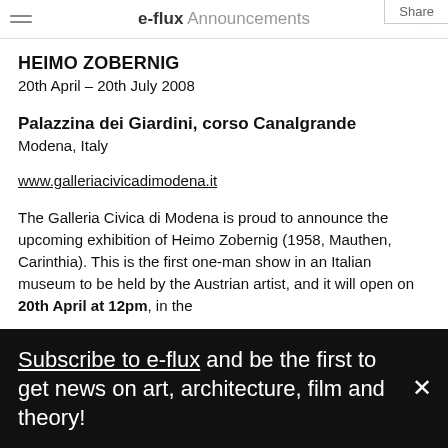e-flux Announcements
HEIMO ZOBERNIG
20th April – 20th July 2008
Palazzina dei Giardini, corso Canalgrande
Modena, Italy
www.galleriacivicadimodena.it
The Galleria Civica di Modena is proud to announce the upcoming exhibition of Heimo Zobernig (1958, Mauthen, Carinthia). This is the first one-man show in an Italian museum to be held by the Austrian artist, and it will open on 20th April at 12pm, in the
Subscribe to e-flux and be the first to get news on art, architecture, film and theory!